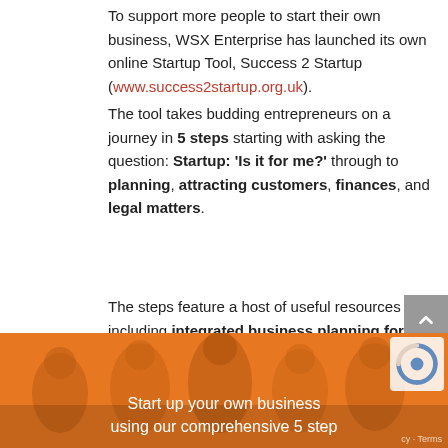To support more people to start their own business, WSX Enterprise has launched its own online Startup Tool, Success 2 Startup (www.success2startup.org.uk). The tool takes budding entrepreneurs on a journey in 5 steps starting with asking the question: Startup: 'Is it for me?' through to planning, attracting customers, finances, and legal matters.
The steps feature a host of useful resources including integrated business planning forms, factsheets for additional reading, calculators for working out your finances, and product price calculations, for example.
[Figure (photo): Orange banner with people in the background and white text reading 'Start up your own business using our comprehensive 5 step']